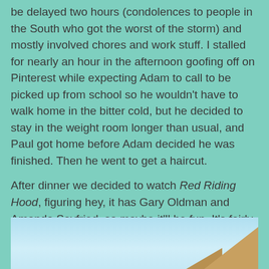be delayed two hours (condolences to people in the South who got the worst of the storm) and mostly involved chores and work stuff. I stalled for nearly an hour in the afternoon goofing off on Pinterest while expecting Adam to call to be picked up from school so he wouldn't have to walk home in the bitter cold, but he decided to stay in the weight room longer than usual, and Paul got home before Adam decided he was finished. Then he went to get a haircut.
After dinner we decided to watch Red Riding Hood, figuring hey, it has Gary Oldman and Amanda Seyfried, so maybe it'll be fun. It's fairly inoffensive -- it didn't aggravate my feminist sensibilities or do anything grosser than the original Brothers Grimm stories -- but it's a bit disjointed and kind of hard to root for any of the men who are the main character's major concern apart from not getting killed by a werewolf. Afterwards we watched Nashville, which is finally getting back to arc stories. Some pics of Homestead Farm's animals from pumpkin season:
[Figure (photo): Partial photo of Homestead Farm showing sky and roof/barn structure at bottom of page]